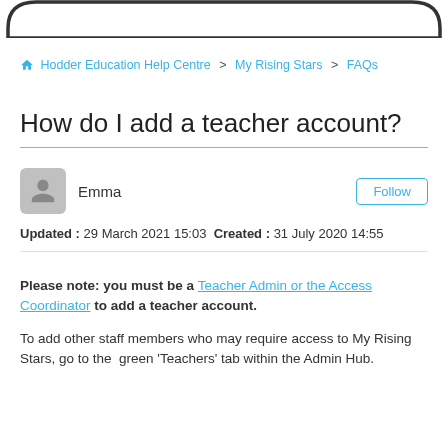[Figure (illustration): Rounded rectangle border decoration at the top of the page, partial view of a UI element border.]
Hodder Education Help Centre > My Rising Stars > FAQs
How do I add a teacher account?
Emma  Follow
Updated : 29 March 2021 15:03  Created : 31 July 2020 14:55
Please note: you must be a Teacher Admin or the Access Coordinator to add a teacher account.
To add other staff members who may require access to My Rising Stars, go to the green 'Teachers' tab within the Admin Hub.